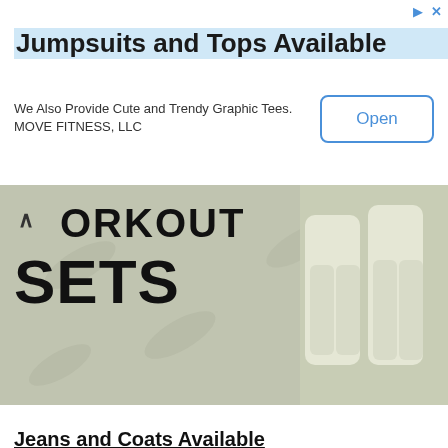Jumpsuits and Tops Available
We Also Provide Cute and Trendy Graphic Tees.
MOVE FITNESS, LLC
[Figure (photo): Cropped advertisement image showing workout sets with large bold text 'WORKOUT SETS' on the left and two women wearing white cargo-style athletic pants on the right, against a grey patterned background. A caret/up-arrow symbol is visible at top left.]
Jeans and Coats Available
MOVE FITNESS, LLC
Open
Anonymous May 25, 2013 at 5:09 AM
amanzing
:D
sabrina
sabrinizza.wordpress.com